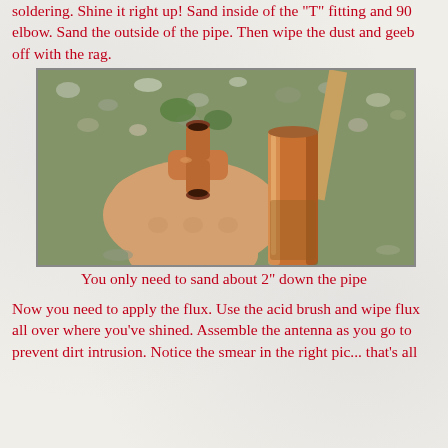soldering. Shine it right up! Sand inside of the "T" fitting and 90 elbow. Sand the outside of the pipe. Then wipe the dust and geeb off with the rag.
[Figure (photo): A hand holding copper pipe fittings (T-fitting and 90-degree elbow) that have been sanded and polished, showing shiny copper surfaces ready for soldering. The parts are held outdoors over a gravel background.]
You only need to sand about 2" down the pipe
Now you need to apply the flux. Use the acid brush and wipe flux all over where you've shined. Assemble the antenna as you go to prevent dirt intrusion. Notice the smear in the right pic... that's all